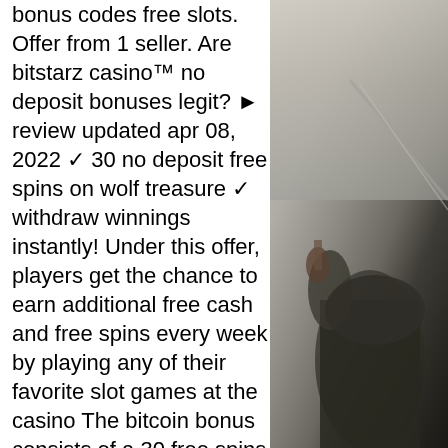bonus codes free slots. Offer from 1 seller. Are bitstarz casino™ no deposit bonuses legit? ► review updated apr 08, 2022 ✓ 30 no deposit free spins on wolf treasure ✓ withdraw winnings instantly! Under this offer, players get the chance to earn additional free cash and free spins every week by playing any of their favorite slot games at the casino The bitcoin bonus consists of a 30 free spins no deposit bonus plus a welcome bonus spread over your first 4 deposits as follows:. Bonus: 30 free spins &quot;no deposit bonus&quot;. Bitstarz (lots of deposit/withdrawal options, including btc, cad,. As usual, theres no need to worry. Without deposit, exclusive 30 free spins (not available for german. When you make the second deposit, you will get 50% which is up to 1 btc and otherwise known as. Exclusive no deposit bonus codes at bitstarz casino ► 30 no deposit free spins ✓ plus $500 bonus + 180 welcome spins ✓ we test every bonus
[Figure (photo): A person seated, holding a violin, photographed from the side/below angle. The background appears to be a wall or architectural surface. The image is in a vertical strip on the right side of the page.]